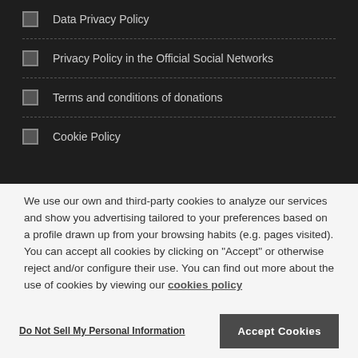Data Privacy Policy
Privacy Policy in the Official Social Networks
Terms and conditions of donations
Cookie Policy
We use our own and third-party cookies to analyze our services and show you advertising tailored to your preferences based on a profile drawn up from your browsing habits (e.g. pages visited). You can accept all cookies by clicking on "Accept" or otherwise reject and/or configure their use. You can find out more about the use of cookies by viewing our cookies policy
Do Not Sell My Personal Information
Accept Cookies